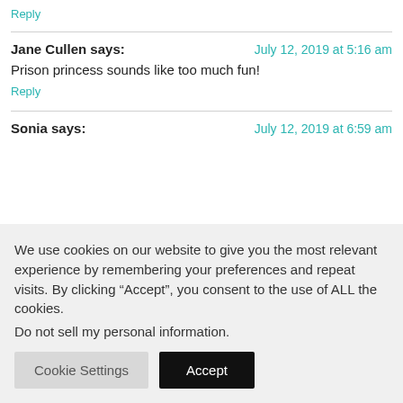Reply
Jane Cullen says:
July 12, 2019 at 5:16 am
Prison princess sounds like too much fun!
Reply
Sonia says:
July 12, 2019 at 6:59 am
We use cookies on our website to give you the most relevant experience by remembering your preferences and repeat visits. By clicking “Accept”, you consent to the use of ALL the cookies.
Do not sell my personal information.
Cookie Settings
Accept